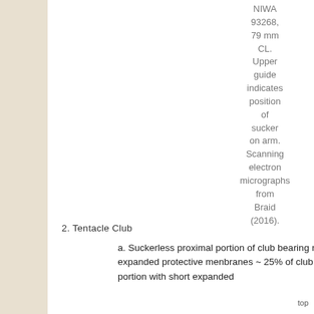NIWA 93268, 79 mm CL. Upper guide indicates position of sucker on arm. Scanning electron micrographs from Braid (2016).
2. Tentacle Club
a. Suckerless proximal portion of club bearing mostly fused trabeculae on expanded protective menbranes ~ 25% of club length, distal sucker-bearing portion with short expanded